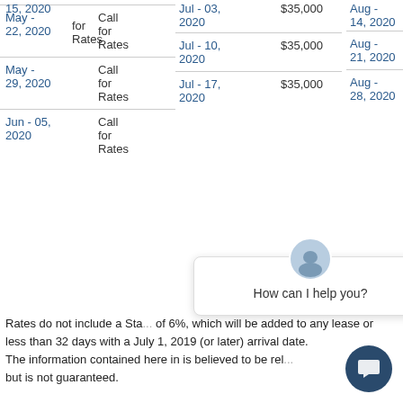| Date | Rate | Date | Price | Date | Price |
| --- | --- | --- | --- | --- | --- |
| May - 15, 2020 | Call for Rates | Jul - 03, 2020 | $35,000 | Aug - 14, 2020 | $35,0... |
| May - 22, 2020 | Call for Rates | Jul - 10, 2020 | $35,000 | Aug - 21, 2020 | $35,0... |
| May - 29, 2020 | Call for Rates | Jul - 17, 2020 | $35,000 | Aug - 28, 2020 | $35,0... |
| Jun - 05, 2020 | Call for Rates |  |  |  |  |
Rates do not include a State tax of 6%, which will be added to any lease or less than 32 days with a July 1, 2019 (or later) arrival date.
The information contained here in is believed to be reliable but is not guaranteed.